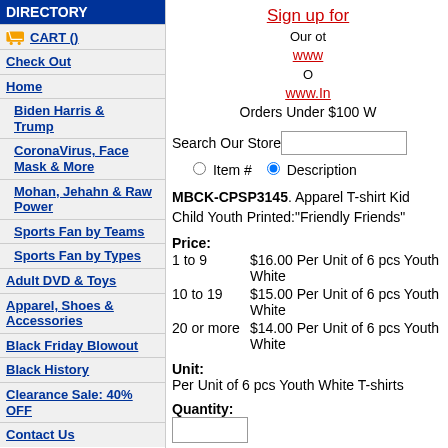DIRECTORY
CART ()
Check Out
Home
Biden Harris & Trump
CoronaVirus, Face Mask & More
Mohan, Jehahn & Raw Power
Sports Fan by Teams
Sports Fan by Types
Adult DVD & Toys
Apparel, Shoes & Accessories
Black Friday Blowout
Black History
Clearance Sale: 40% OFF
Contact Us
Sign up for Our other www. O www.In Orders Under $100 W
Search Our Store  ○ Item #  ● Description
MBCK-CPSP3145. Apparel T-shirt Kid Child Youth Printed:"Friendly Friends"
Price:
1 to 9   $16.00 Per Unit of 6 pcs Youth White
10 to 19   $15.00 Per Unit of 6 pcs Youth White
20 or more   $14.00 Per Unit of 6 pcs Youth White
Unit:
Per Unit of 6 pcs Youth White T-shirts
Quantity: